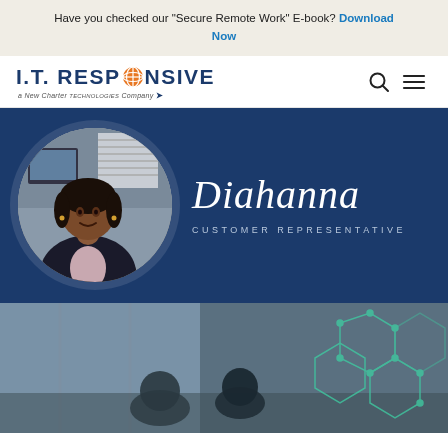Have you checked our "Secure Remote Work" E-book? Download Now
[Figure (logo): I.T. RESPONSIVE logo with orange globe icon, subtitle: a New Charter Technologies Company]
[Figure (photo): Diahanna, Customer Representative - portrait photo of a woman in a business blazer, shown in circular crop on dark navy blue hero banner background with name in script and title CUSTOMER REPRESENTATIVE]
[Figure (photo): Office meeting scene with people and hexagonal network overlay graphics in teal/green, partially visible at bottom of page]